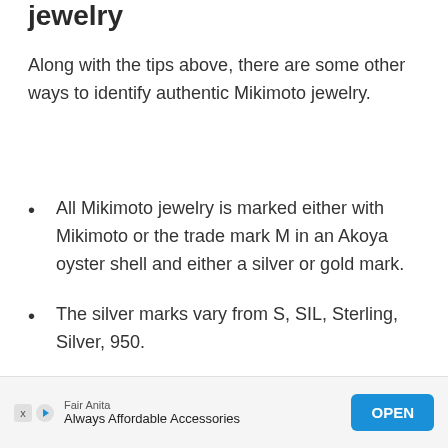jewelry
Along with the tips above, there are some other ways to identify authentic Mikimoto jewelry.
All Mikimoto jewelry is marked either with Mikimoto or the trade mark M in an Akoya oyster shell and either a silver or gold mark.
The silver marks vary from S, SIL, Sterling, Silver, 950.
All Mikimoto pearls will be perfectly
Fair Anita
Always Affordable Accessories
OPEN